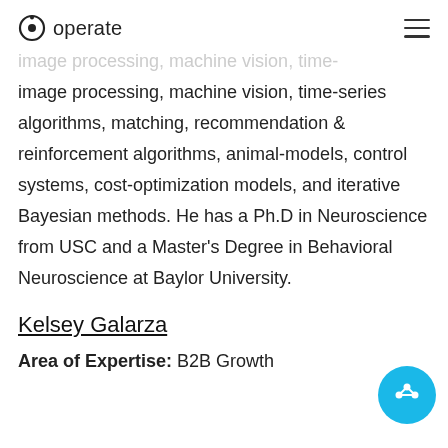operate
image processing, machine vision, time-series algorithms, matching, recommendation & reinforcement algorithms, animal-models, control systems, cost-optimization models, and iterative Bayesian methods. He has a Ph.D in Neuroscience from USC and a Master's Degree in Behavioral Neuroscience at Baylor University.
Kelsey Galarza
Area of Expertise: B2B Growth